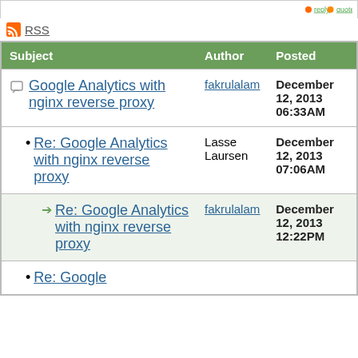RSS
| Subject | Author | Posted |
| --- | --- | --- |
| Google Analytics with nginx reverse proxy | fakrulalam | December 12, 2013 06:33AM |
| Re: Google Analytics with nginx reverse proxy | Lasse Laursen | December 12, 2013 07:06AM |
| Re: Google Analytics with nginx reverse proxy | fakrulalam | December 12, 2013 12:22PM |
| Re: Google |  |  |